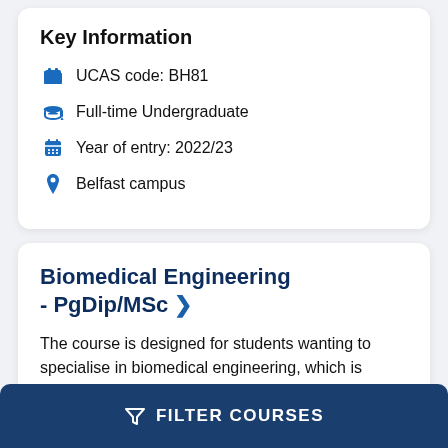Key Information
UCAS code: BH81
Full-time Undergraduate
Year of entry: 2022/23
Belfast campus
Biomedical Engineering - PgDip/MSc
The course is designed for students wanting to specialise in biomedical engineering, which is concerned with developing new medical
FILTER COURSES